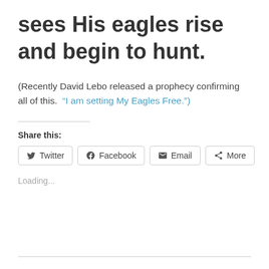sees His eagles rise and begin to hunt.
(Recently David Lebo released a prophecy confirming all of this. “I am setting My Eagles Free.”)
Share this:
Twitter  Facebook  Email  More
Loading...